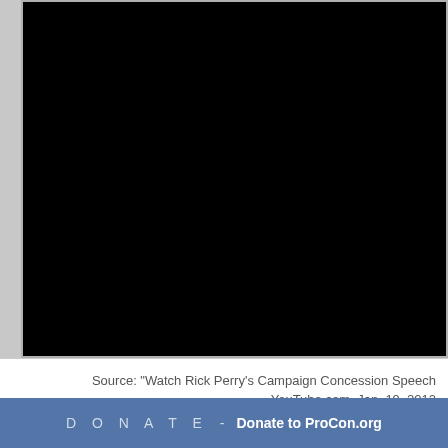[Figure (screenshot): Embedded video player showing a black/dark screen, representing a YouTube video of Rick Perry's Campaign Concession Speech]
Source: "Watch Rick Perry's Campaign Concession Speech" YouTube.com, Jan. 19, 2012
D O N A T E  -  Donate to ProCon.org